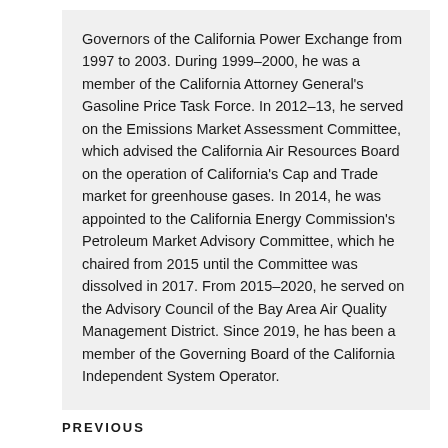Governors of the California Power Exchange from 1997 to 2003. During 1999–2000, he was a member of the California Attorney General's Gasoline Price Task Force. In 2012–13, he served on the Emissions Market Assessment Committee, which advised the California Air Resources Board on the operation of California's Cap and Trade market for greenhouse gases. In 2014, he was appointed to the California Energy Commission's Petroleum Market Advisory Committee, which he chaired from 2015 until the Committee was dissolved in 2017. From 2015–2020, he served on the Advisory Council of the Bay Area Air Quality Management District. Since 2019, he has been a member of the Governing Board of the California Independent System Operator.
PREVIOUS